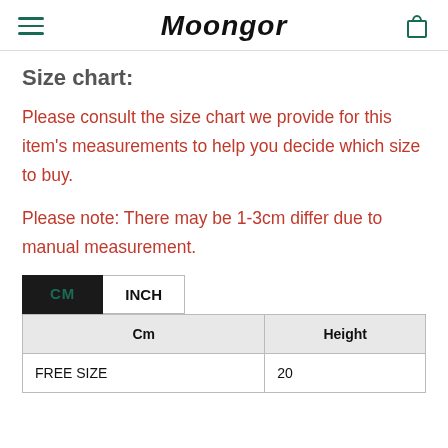Moongor
Size chart:
Please consult the size chart we provide for this item's measurements to help you decide which size to buy.
Please note: There may be 1-3cm differ due to manual measurement.
| Cm | Height |
| --- | --- |
| FREE SIZE | 20 |